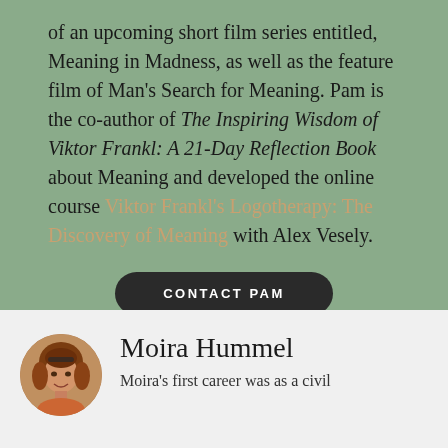of an upcoming short film series entitled, Meaning in Madness, as well as the feature film of Man's Search for Meaning. Pam is the co-author of The Inspiring Wisdom of Viktor Frankl: A 21-Day Reflection Book about Meaning and developed the online course Viktor Frankl's Logotherapy: The Discovery of Meaning with Alex Vesely.
CONTACT PAM
[Figure (photo): Circular portrait photo of Moira Hummel, a woman with reddish-brown hair]
Moira Hummel
Moira's first career was as a civil